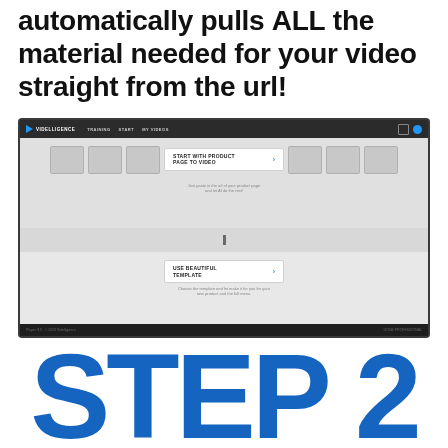automatically pulls ALL the material needed for your video straight from the url!
[Figure (screenshot): Screenshot of Videlligence web application showing navigation bar with TRAINING, START, MY VIDEOS links, thumbnail image row, and two option cards: 'START WITH PRODUCT PAGE TO VIDEO' and 'USE BEAUTIFUL TEMPLATE', each with a blue arrow and descriptive text below.]
STEP 2